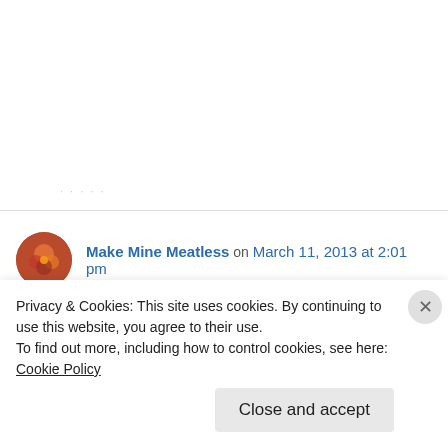· · · ·
Make Mine Meatless on March 11, 2013 at 2:01 pm
Can't wait to try these!
↳ Reply
Somer on March 11, 2013 at 7:59 pm
Privacy & Cookies: This site uses cookies. By continuing to use this website, you agree to their use.
To find out more, including how to control cookies, see here: Cookie Policy
Close and accept